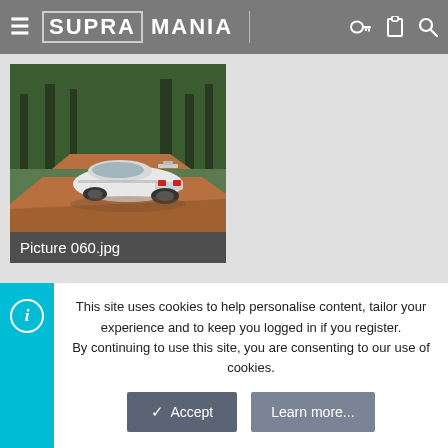≡ SUPRA MANIA
[Figure (photo): White Toyota Supra MK3 photographed from the rear-left on a red dirt road surrounded by green trees. Caption bar reads 'Picture 060.jpg']
Last edited: Jun 22, 2008
Mk3runner
Supramania Contributor
This site uses cookies to help personalise content, tailor your experience and to keep you logged in if you register.
By continuing to use this site, you are consenting to our use of cookies.
Accept   Learn more...